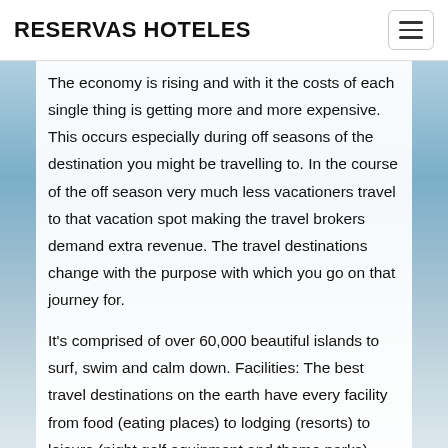RESERVAS HOTELES
The economy is rising and with it the costs of each single thing is getting more and more expensive. This occurs especially during off seasons of the destination you might be travelling to. In the course of the off season very much less vacationers travel to that vacation spot making the travel brokers demand extra revenue. The travel destinations change with the purpose with which you go on that journey for.
It's comprised of over 60,000 beautiful islands to surf, swim and calm down. Facilities: The best travel destinations on the earth have every facility from food (eating places) to lodging (resorts) to leisure (night golf equipment and theme parks).